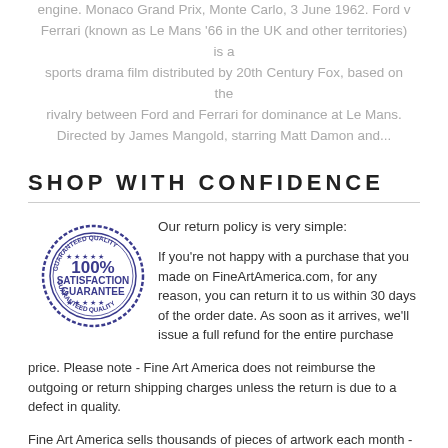engine. Monaco Grand Prix, Monte Carlo, 3 June 1962. Ford v Ferrari (known as Le Mans '66 in the UK and other territories) is a sports drama film distributed by 20th Century Fox, based on the rivalry between Ford and Ferrari for dominance at Le Mans. Directed by James Mangold, starring Matt Damon and...
SHOP WITH CONFIDENCE
[Figure (illustration): 100% Satisfaction Guarantee circular stamp seal in blue ink]
Our return policy is very simple:

If you're not happy with a purchase that you made on FineArtAmerica.com, for any reason, you can return it to us within 30 days of the order date.   As soon as it arrives, we'll issue a full refund for the entire purchase price.   Please note - Fine Art America does not reimburse the outgoing or return shipping charges unless the return is due to a defect in quality.
Fine Art America sells thousands of pieces of artwork each month - all with a 100% money-back guarantee.   We take great pride in the fact that hundreds of thousands of artists have chosen Fine Art...